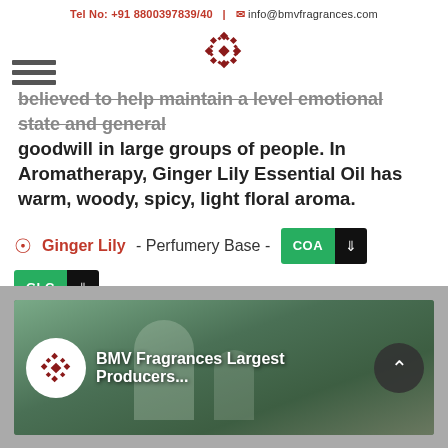Tel No: +91 8800397839/40 | info@bmvfragrances.com
[Figure (logo): BMV Fragrances decorative geometric/knot logo in dark red]
believed to help maintain a level emotional state and general goodwill in large groups of people. In Aromatherapy, Ginger Lily Essential Oil has warm, woody, spicy, light floral aroma.
Ginger Lily - Perfumery Base - COA [download] GLC [download] MSDS [download]
[Figure (screenshot): BMV Fragrances Largest Producers... video thumbnail showing laboratory/factory setting with workers]